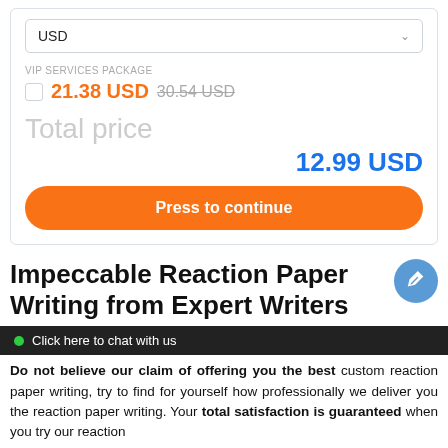USD
VIP SERVICES PACKAGE
21.38 USD  30.54 USD
Total price
12.99 USD
Press to continue
Impeccable Reaction Paper Writing from Expert Writers
Click here to chat with us
Do not believe our claim of offering you the best custom reaction paper writing, try to find for yourself how professionally we deliver you the reaction paper writing. Your total satisfaction is guaranteed when you try our reaction